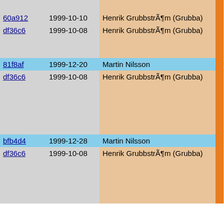| hash | date | author |  | code |
| --- | --- | --- | --- | --- |
| 60a912 | 1999-10-10 | Henrik GrubbstrÃ¶m (Grubba) | | | my |
| df36c6 | 1999-10-08 | Henrik GrubbstrÃ¶m (Grubba) | | | /*
//
//
fa |
| 81f8af | 1999-12-20 | Martin Nilsson | | |  |
| df36c6 | 1999-10-08 | Henrik GrubbstrÃ¶m (Grubba) | | | de
de
//
}
}

void s
{ |
| bfb4d4 | 1999-12-28 | Martin Nilsson | | | SSL3 |
| df36c6 | 1999-10-08 | Henrik GrubbstrÃ¶m (Grubba) | | | id->
my_f
}

void c
{
  my_f |